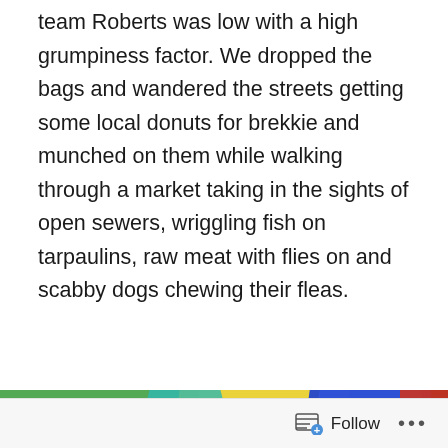team Roberts was low with a high grumpiness factor. We dropped the bags and wandered the streets getting some local donuts for brekkie and munched on them while walking through a market taking in the sights of open sewers, wriggling fish on tarpaulins, raw meat with flies on and scabby dogs chewing their fleas.
[Figure (photo): Busy outdoor street market scene with colourful umbrellas (green, yellow, blue, red) overhead. Vendors and shoppers among stalls piled with fresh produce including oranges, tomatoes, and cherries/lychees. A man in a grey shirt stands in the foreground near fruit display. Crowded, lively atmosphere.]
Follow ...